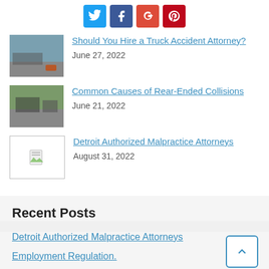[Figure (infographic): Social media share buttons: Twitter (blue), Facebook (dark blue), Google+ (red), Pinterest (dark red)]
Should You Hire a Truck Accident Attorney?
June 27, 2022
Common Causes of Rear-Ended Collisions
June 21, 2022
Detroit Authorized Malpractice Attorneys
August 31, 2022
Recent Posts
Detroit Authorized Malpractice Attorneys
Employment Regulation.